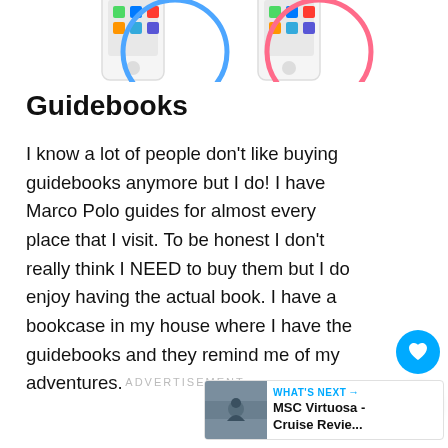[Figure (illustration): Two smartphone illustrations side by side — left phone with blue circle/ring graphic, right phone with pink/red circle/ring graphic, partially cropped at top of page]
Guidebooks
I know a lot of people don't like buying guidebooks anymore but I do! I have Marco Polo guides for almost every place that I visit. To be honest I don't really think I NEED to buy them but I do enjoy having the actual book. I have a bookcase in my house where I have the guidebooks and they remind me of my adventures.
ADVERTISEMENT
[Figure (screenshot): WHAT'S NEXT banner with thumbnail image and text 'MSC Virtuosa - Cruise Revie...']